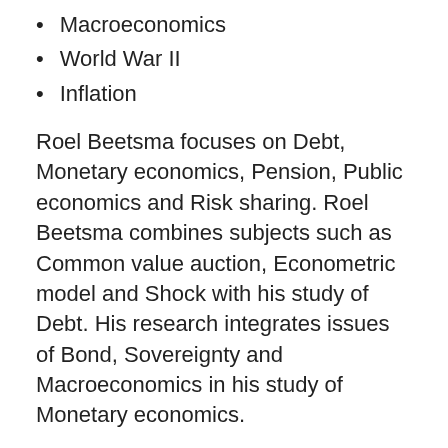Macroeconomics
World War II
Inflation
Roel Beetsma focuses on Debt, Monetary economics, Pension, Public economics and Risk sharing. Roel Beetsma combines subjects such as Common value auction, Econometric model and Shock with his study of Debt. His research integrates issues of Bond, Sovereignty and Macroeconomics in his study of Monetary economics.
His work on Stylized fact as part of general Macroeconomics research is often related to Key features, thus linking different fields of science. He interconnects Indexation and Welfare in the investigation of issues within Pension. His study in Public economics is interdisciplinary in nature, drawing from both Conditionality, Redistribution and Polarization.